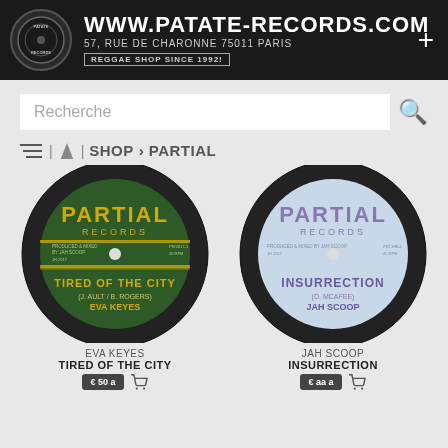WWW.PATATE-RECORDS.COM 57, RUE DE CHARONNE 75011 PARIS REGGAE SHOP SINCE 1992!
Recherche
≡ | ▼ | SHOP > PARTIAL
[Figure (photo): Green vinyl record label for Partial Records showing 'TIRED OF THE CITY' by Eva Keyes]
EVA KEYES
TIRED OF THE CITY
[Figure (photo): Light blue vinyl record label for Partial Records showing 'INSURRECTION' by Jah Scoop]
JAH SCOOP
INSURRECTION